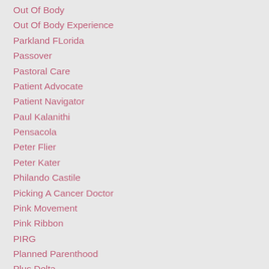Out Of Body
Out Of Body Experience
Parkland FLorida
Passover
Pastoral Care
Patient Advocate
Patient Navigator
Paul Kalanithi
Pensacola
Peter Flier
Peter Kater
Philando Castile
Picking A Cancer Doctor
Pink Movement
Pink Ribbon
PIRG
Planned Parenthood
Plus Delta
Plus - Delta